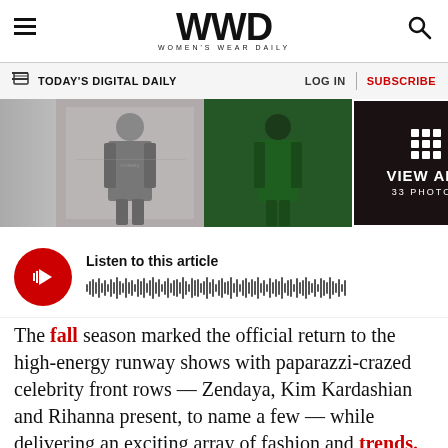WWD WOMEN'S WEAR DAILY
TODAY'S DIGITAL DAILY   LOG IN | SUBSCRIBE
[Figure (photo): WWD fashion runway photo strip with two runway looks and a 'View All / 33 Photos' tile]
Listen to this article
The fall season marked the official return to the high-energy runway shows with paparazzi-crazed celebrity front rows — Zendaya, Kim Kardashian and Rihanna present, to name a few — while delivering an exciting array of fashion and trends.